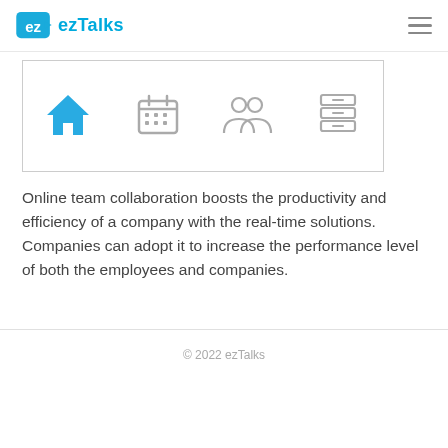ezTalks
[Figure (infographic): Navigation icon bar with four icons: home (blue), calendar (gray), people/contacts (gray), and file/document (gray)]
Online team collaboration boosts the productivity and efficiency of a company with the real-time solutions. Companies can adopt it to increase the performance level of both the employees and companies.
© 2022 ezTalks